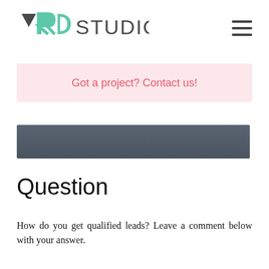VRD STUDIO
Got a project? Contact us!
[Figure (photo): Dark blurred hero image banner]
Question
How do you get qualified leads? Leave a comment below with your answer.